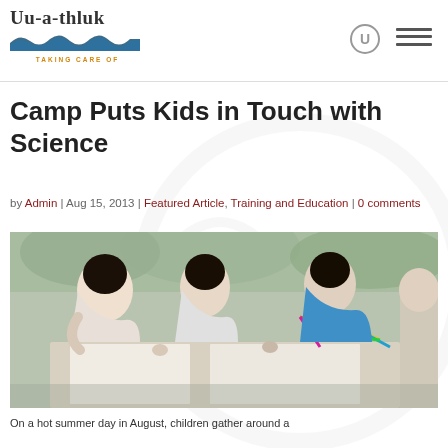Yu-a-thluk TAKING CARE OF
Camp Puts Kids in Touch with Science
by Admin | Aug 15, 2013 | Featured Article, Training and Education | 0 comments
[Figure (photo): Children gathered around a table outdoors working on a science activity, building a colorful geometric structure with craft sticks and connectors.]
On a hot summer day in August, children gather around a